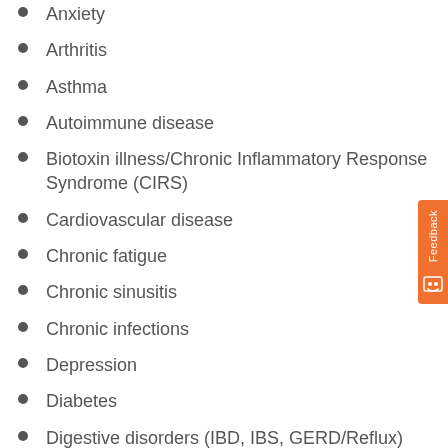Anxiety
Arthritis
Asthma
Autoimmune disease
Biotoxin illness/Chronic Inflammatory Response Syndrome (CIRS)
Cardiovascular disease
Chronic fatigue
Chronic sinusitis
Chronic infections
Depression
Diabetes
Digestive disorders (IBD, IBS, GERD/Reflux)
Eczema/psoriasis
Elevated cholesterol
Environmental and food allergies